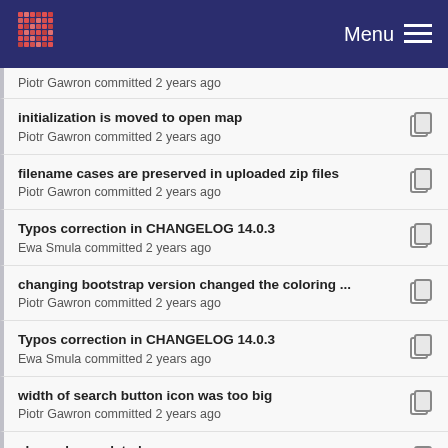Menu
Piotr Gawron committed 2 years ago
initialization is moved to open map
Piotr Gawron committed 2 years ago
filename cases are preserved in uploaded zip files
Piotr Gawron committed 2 years ago
Typos correction in CHANGELOG 14.0.3
Ewa Smula committed 2 years ago
changing bootstrap version changed the coloring ...
Piotr Gawron committed 2 years ago
Typos correction in CHANGELOG 14.0.3
Ewa Smula committed 2 years ago
width of search button icon was too big
Piotr Gawron committed 2 years ago
changelog updated
Piotr Gawron committed 2 years ago